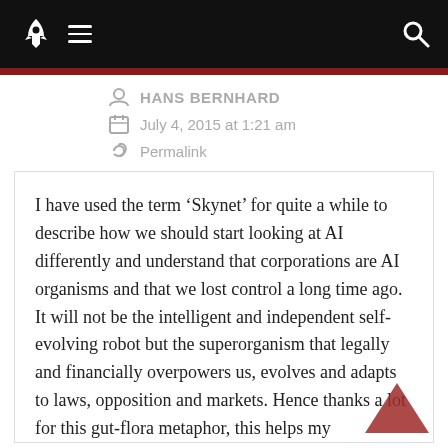Navigation bar with rocket logo, hamburger menu, and search icon
HANS BERNHARD
July 4, 2015 at 1:21 am
Permalink
I have used the term ‘Skynet’ for quite a while to describe how we should start looking at AI differently and understand that corporations are AI organisms and that we lost control a long time ago. It will not be the intelligent and independent self-evolving robot but the superorganism that legally and financially overpowers us, evolves and adapts to laws, opposition and markets. Hence thanks a lot for this gut-flora metaphor, this helps my thinking/writing in this field. The lack of empathy and emotion is one of the key questions, but not necessarily the differentiation between human, machine and corporate organisms, there are anti-social personalities (psychopaths) that operate on a similar